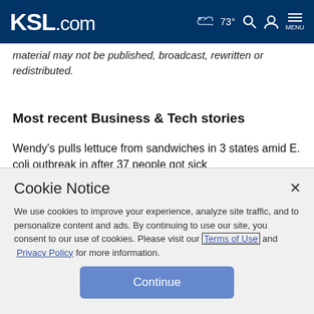KSL.com — 73° [weather icon] [search] [account] MENU
material may not be published, broadcast, rewritten or redistributed.
Most recent Business & Tech stories
Wendy's pulls lettuce from sandwiches in 3 states amid E. coli outbreak in after 37 people got sick
Cookie Notice
We use cookies to improve your experience, analyze site traffic, and to personalize content and ads. By continuing to use our site, you consent to our use of cookies. Please visit our Terms of Use and Privacy Policy for more information.
Continue